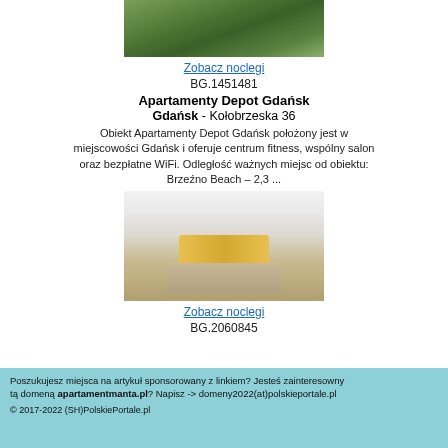[Figure (photo): Exterior photo of a building with green hedge/ivy wall]
Zobacz noclegi
BG.1451481
Apartamenty Depot Gdańsk
Gdańsk - Kołobrzeska 36
Obiekt Apartamenty Depot Gdańsk położony jest w miejscowości Gdańsk i oferuje centrum fitness, wspólny salon oraz bezpłatne WiFi. Odległość ważnych miejsc od obiektu: Brzeźno Beach – 2,3 ...
[Figure (photo): Interior photo of a bright bedroom with yellow headboard and neutral bedding]
Zobacz noclegi
BG.2060845
Poszukujesz miejsca na artykuł sponsorowany z linkiem? Jesteś zainteresowny tą domeną apartamentmanta.pl? Napisz -> domeny2022(at)polskieportale.pl
© 2017-2022 (SH)PolskiePortale.pl